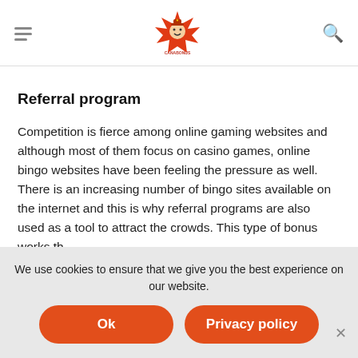Menu | Logo | Search
Referral program
Competition is fierce among online gaming websites and although most of them focus on casino games, online bingo websites have been feeling the pressure as well. There is an increasing number of bingo sites available on the internet and this is why referral programs are also used as a tool to attract the crowds. This type of bonus works the...
We use cookies to ensure that we give you the best experience on our website.
Ok
Privacy policy